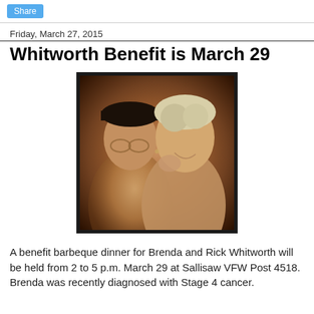Share
Friday, March 27, 2015
Whitworth Benefit is March 29
[Figure (photo): A couple close together, a man wearing glasses and a dark cap leaning toward a woman with short blonde/grey hair who is smiling and touching her face.]
A benefit barbeque dinner for Brenda and Rick Whitworth will be held from 2 to 5 p.m. March 29 at Sallisaw VFW Post 4518. Brenda was recently diagnosed with Stage 4 cancer.